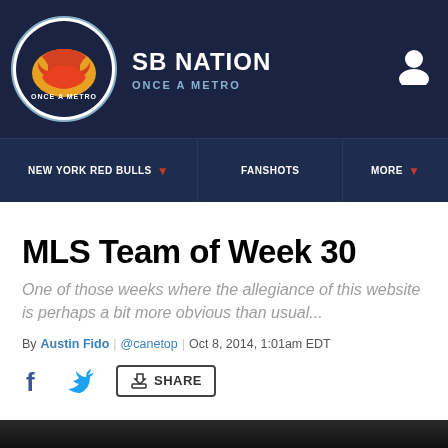SB NATION / ONCE A METRO
NEW YORK RED BULLS | FANSHOTS | MORE
MLS Team of Week 30
One of those weeks where the allegiance of this website is perhaps a bit more obvious than usual...
By Austin Fido | @canetop | Oct 8, 2014, 1:01am EDT
[Figure (infographic): Social share bar with Facebook icon, Twitter icon, and Share button]
[Figure (photo): Bottom edge of a photo visible at the bottom of the page]